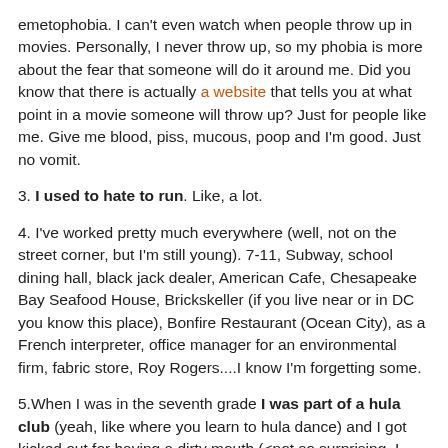emetophobia. I can't even watch when people throw up in movies. Personally, I never throw up, so my phobia is more about the fear that someone will do it around me. Did you know that there is actually a website that tells you at what point in a movie someone will throw up? Just for people like me. Give me blood, piss, mucous, poop and I'm good. Just no vomit.
3. I used to hate to run. Like, a lot.
4. I've worked pretty much everywhere (well, not on the street corner, but I'm still young). 7-11, Subway, school dining hall, black jack dealer, American Cafe, Chesapeake Bay Seafood House, Brickskeller (if you live near or in DC you know this place), Bonfire Restaurant (Ocean City), as a French interpreter, office manager for an environmental firm, fabric store, Roy Rogers....I know I'm forgetting some.
5.When I was in the seventh grade I was part of a hula club (yeah, like where you learn to hula dance) and I got kicked out for having a dirty mouth (<not so surprising, I guess).